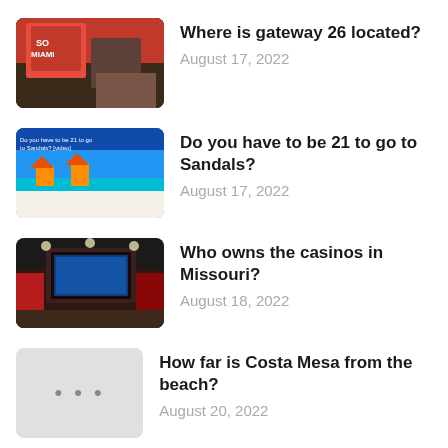Where is gateway 26 located?
August 17, 2022
Do you have to be 21 to go to Sandals?
August 17, 2022
Who owns the casinos in Missouri?
August 18, 2022
How far is Costa Mesa from the beach?
August 20, 2022
How many pools does the Sahara have?
August 18, 2022